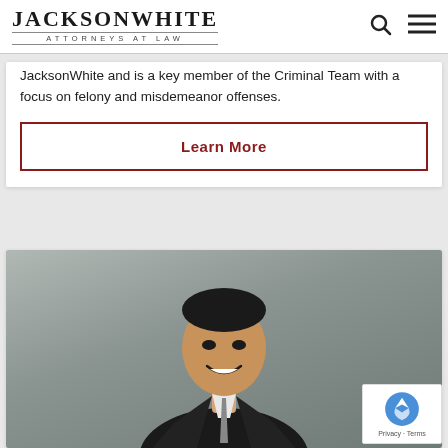JacksonWhite ATTORNEYS AT LAW
JacksonWhite and is a key member of the Criminal Team with a focus on felony and misdemeanor offenses.
Learn More
[Figure (photo): Professional headshot of a smiling Asian man in a dark suit and patterned tie against a light gray background]